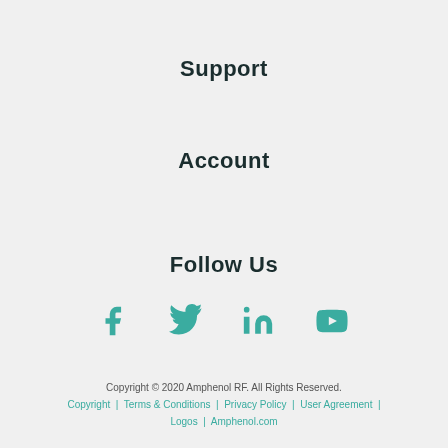Support
Account
Follow Us
[Figure (infographic): Social media icons: Facebook, Twitter, LinkedIn, YouTube in teal color]
Copyright © 2020 Amphenol RF. All Rights Reserved.
Copyright | Terms & Conditions | Privacy Policy | User Agreement | Logos | Amphenol.com